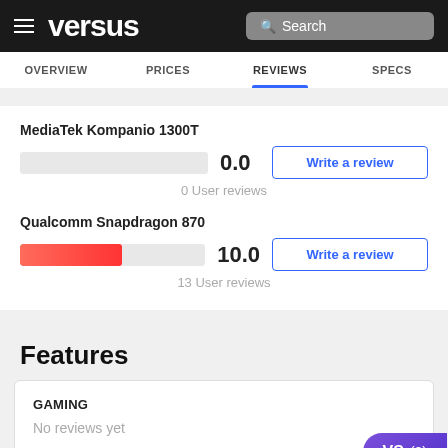versus — Search
OVERVIEW  PRICES  REVIEWS  SPECS
MediaTek Kompanio 1300T
0.0
0 User reviews
Qualcomm Snapdragon 870
10.0
13 User reviews
Features
GAMING
No reviews yet